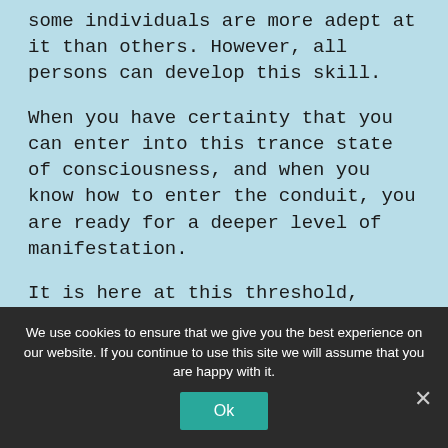some individuals are more adept at it than others. However, all persons can develop this skill.
When you have certainty that you can enter into this trance state of consciousness, and when you know how to enter the conduit, you are ready for a deeper level of manifestation.
It is here at this threshold, between confined time and space and an expanded sense of yourself, transcendent to time and space, that
We use cookies to ensure that we give you the best experience on our website. If you continue to use this site we will assume that you are happy with it.